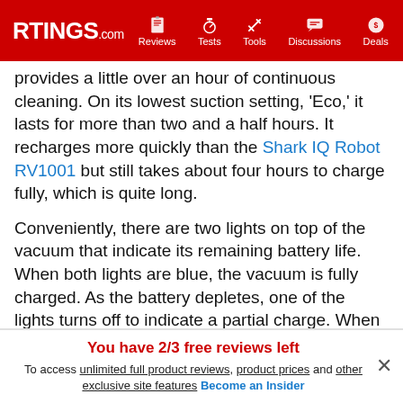RTINGS.com | Reviews | Tests | Tools | Discussions | Deals
provides a little over an hour of continuous cleaning. On its lowest suction setting, 'Eco,' it lasts for more than two and a half hours. It recharges more quickly than the Shark IQ Robot RV1001 but still takes about four hours to charge fully, which is quite long.
Conveniently, there are two lights on top of the vacuum that indicate its remaining battery life. When both lights are blue, the vacuum is fully charged. As the battery depletes, one of the lights turns off to indicate a partial charge. When it reaches low battery, the light turns red.
Battery performance can vary with real-life use, and your experience may be different.
You have 2/3 free reviews left
To access unlimited full product reviews, product prices and other exclusive site features Become an Insider